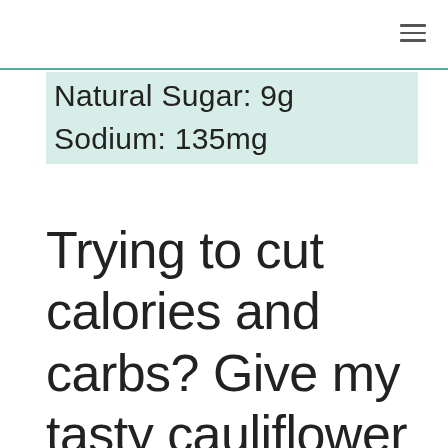Natural Sugar: 9g
Sodium: 135mg
Trying to cut calories and carbs? Give my tasty cauliflower